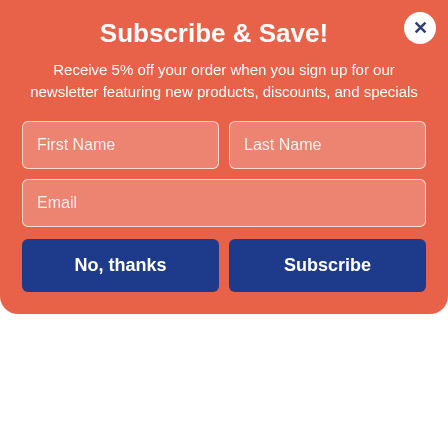Subscribe & Save!
Receive 5% off your order when you sign up for our newsletter featuring new products, discounts, and specials
First Name
Last Name
Email
No, thanks
Subscribe
Family
[Figure (photo): Cotton mop with tan handle and gray cotton head]
Cotton Deck Mop, 12 oz White Cotton Head, 50" Brown Wood Handle, Dozen